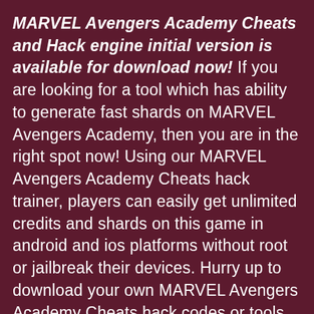MARVEL Avengers Academy Cheats and Hack engine initial version is available for download now! If you are looking for a tool which has ability to generate fast shards on MARVEL Avengers Academy, then you are in the right spot now! Using our MARVEL Avengers Academy Cheats hack trainer, players can easily get unlimited credits and shards on this game in android and ios platforms without root or jailbreak their devices. Hurry up to download your own MARVEL Avengers Academy Cheats hack codes or tools for shards now!